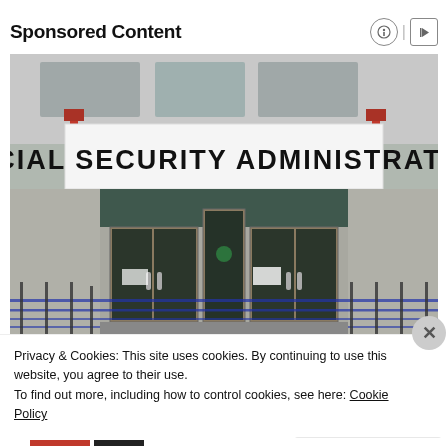Sponsored Content
[Figure (photo): Exterior photo of a Social Security Administration office building, showing a large white sign with bold black text 'SOCIAL SECURITY ADMINISTRATION' above glass entrance doors with metal railings and a ramp.]
Privacy & Cookies: This site uses cookies. By continuing to use this website, you agree to their use.
To find out more, including how to control cookies, see here: Cookie Policy
Close and accept